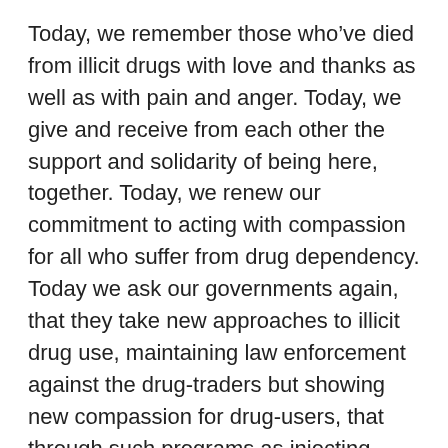Today, we remember those who’ve died from illicit drugs with love and thanks as well as with pain and anger. Today, we give and receive from each other the support and solidarity of being here, together. Today, we renew our commitment to acting with compassion for all who suffer from drug dependency. Today we ask our governments again, that they take new approaches to illicit drug use, maintaining law enforcement against the drug-traders but showing new compassion for drug-users, that through such programs as injecting rooms and heroin trials the death toll will be reduced and successful treatments found.
May we today be strengthened by each other, and by God, to live our lives in compassion and love and the pursuit of justice, remembering those who have lost